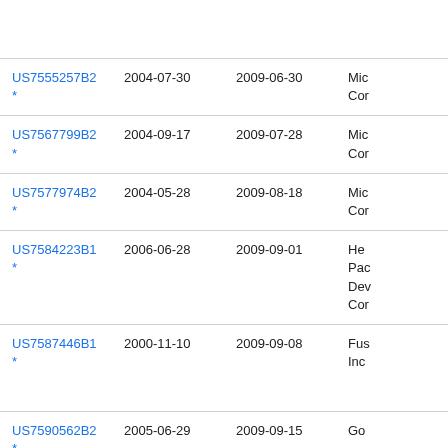| Patent Number | Filed | Published | Assignee |
| --- | --- | --- | --- |
| US7555257B2 * | 2004-07-30 | 2009-06-30 | Mic
Cor |
| US7567799B2 * | 2004-09-17 | 2009-07-28 | Mic
Cor |
| US7577974B2 * | 2004-05-28 | 2009-08-18 | Mic
Cor |
| US7584223B1 * | 2006-06-28 | 2009-09-01 | He
Pac
Dev
Cor |
| US7587446B1 * | 2000-11-10 | 2009-09-08 | Fus
Inc |
| US7590562B2 * | 2005-06-29 | 2009-09-15 | Go |